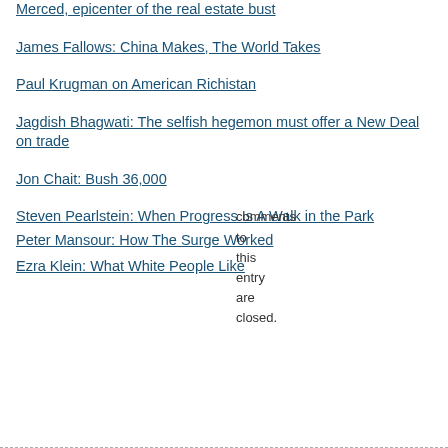Merced, epicenter of the real estate bust
James Fallows: China Makes, The World Takes
Paul Krugman on American Richistan
Jagdish Bhagwati: The selfish hegemon must offer a New Deal on trade
Jon Chait: Bush 36,000
Steven Pearlstein: When Progress Is A Walk in the Park
comments
to
this
entry
are
closed.
Peter Mansour: How The Surge Worked
Ezra Klein: What White People Like